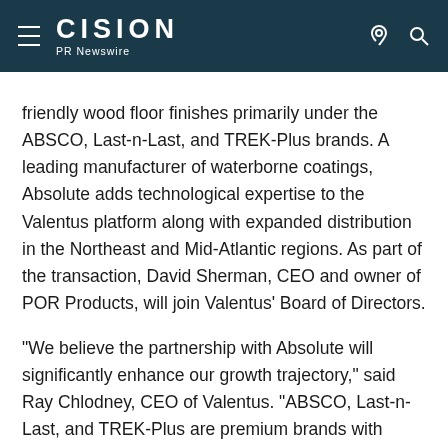CISION PR Newswire
friendly wood floor finishes primarily under the ABSCO, Last-n-Last, and TREK-Plus brands. A leading manufacturer of waterborne coatings, Absolute adds technological expertise to the Valentus platform along with expanded distribution in the Northeast and Mid-Atlantic regions. As part of the transaction, David Sherman, CEO and owner of POR Products, will join Valentus' Board of Directors.
"We believe the partnership with Absolute will significantly enhance our growth trajectory," said Ray Chlodney, CEO of Valentus. "ABSCO, Last-n-Last, and TREK-Plus are premium brands with differentiated technologies and excellent growth opportunities